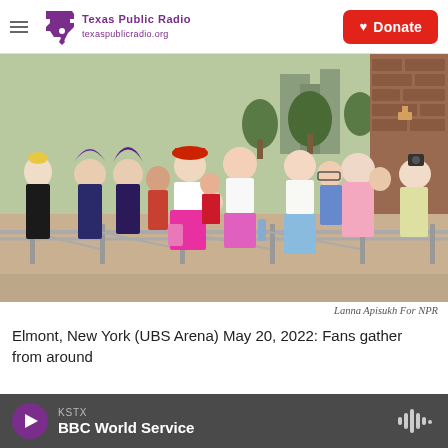Texas Public Radio | Donate
[Figure (photo): A crowd of young women fans dressed in colorful outfits, some wearing wigs, gathered behind a metal barricade outdoors at a concert venue. Buildings and trees visible in background.]
Lanna Apisukh For NPR
Elmont, New York (UBS Arena) May 20, 2022: Fans gather from around
[Figure (other): Audio player bar showing KSTX / BBC World Service with play button and audio wave icon]